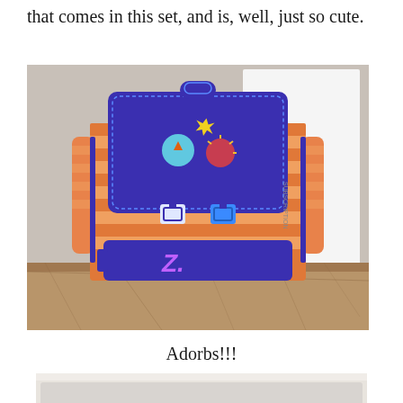that comes in this set, and is, well, just so cute.
[Figure (photo): A blue and orange striped children's backpack with patches and a 'Z' monogram on the front pocket, sitting on a countertop against a white background box.]
Adorbs!!!
[Figure (photo): Partial view of another item from the set, bottom of page cropped.]